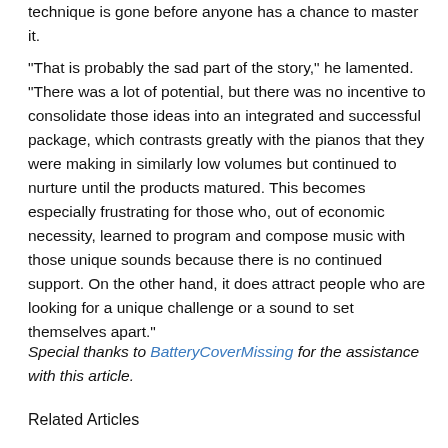technique is gone before anyone has a chance to master it.
"That is probably the sad part of the story," he lamented. "There was a lot of potential, but there was no incentive to consolidate those ideas into an integrated and successful package, which contrasts greatly with the pianos that they were making in similarly low volumes but continued to nurture until the products matured. This becomes especially frustrating for those who, out of economic necessity, learned to program and compose music with those unique sounds because there is no continued support. On the other hand, it does attract people who are looking for a unique challenge or a sound to set themselves apart."
Special thanks to BatteryCoverMissing for the assistance with this article.
Related Articles